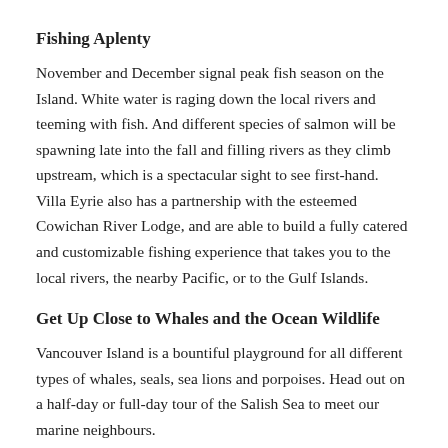Fishing Aplenty
November and December signal peak fish season on the Island. White water is raging down the local rivers and teeming with fish. And different species of salmon will be spawning late into the fall and filling rivers as they climb upstream, which is a spectacular sight to see first-hand. Villa Eyrie also has a partnership with the esteemed Cowichan River Lodge, and are able to build a fully catered and customizable fishing experience that takes you to the local rivers, the nearby Pacific, or to the Gulf Islands.
Get Up Close to Whales and the Ocean Wildlife
Vancouver Island is a bountiful playground for all different types of whales, seals, sea lions and porpoises. Head out on a half-day or full-day tour of the Salish Sea to meet our marine neighbours.